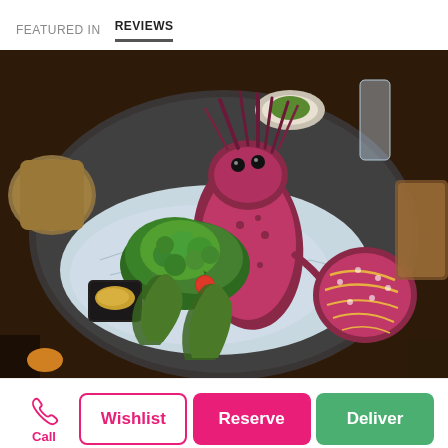FEATURED IN   REVIEWS
[Figure (photo): Close-up photo of an elaborate seafood dish presentation on a restaurant table. A whole lobster or crayfish is displayed upright on a bed of crushed ice on a dark ceramic plate, garnished with fresh green herbs (parsley), a cherry tomato, and what appears to be a sea urchin shell on the right side. A small black dish with a dipping sauce or seasoning is visible on the left. Bamboo or large green leaves are placed decoratively at the base. The dish is presented on ice in an ornate restaurant setting.]
Call
Wishlist
Reserve
Deliver